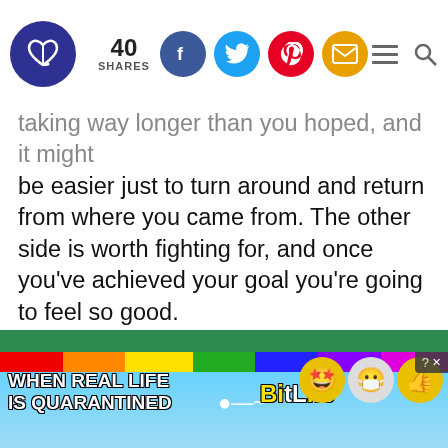40 SHARES [social icons: Facebook, Twitter, Pinterest, Email] [hamburger menu] [search]
taking way longer than you hoped, and it might be easier just to turn around and return from where you came from. The other side is worth fighting for, and once you've achieved your goal you're going to feel so good.
RELATED: The Absolute Worst, Most Negative Personality Trait Of Each Zodiac Sign
[Figure (screenshot): BitLife advertisement banner: colorful rainbow strip, text 'WHEN REAL LIFE IS QUARANTINED', BitLife logo, cartoon mascot emoji characters, close button]